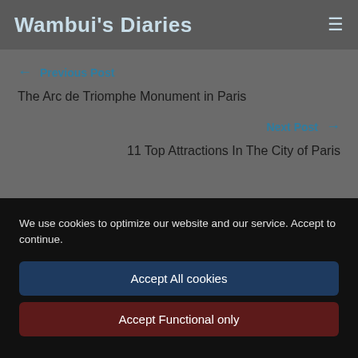Wambui's Diaries
← Previous Post
The Arc de Triomphe Monument in Paris
Next Post →
11 Top Attractions In The City of Paris
We use cookies to optimize our website and our service. Accept to continue.
Accept All cookies
Accept Functional only